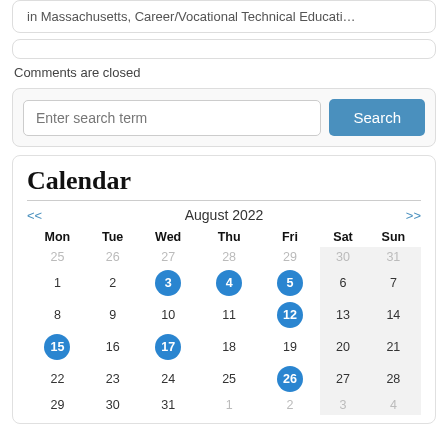in Massachusetts, Career/Vocational Technical Educati…
Comments are closed
[Figure (other): Search bar with text input labeled 'Enter search term' and a blue 'Search' button]
Calendar
| Mon | Tue | Wed | Thu | Fri | Sat | Sun |
| --- | --- | --- | --- | --- | --- | --- |
| 25 | 26 | 27 | 28 | 29 | 30 | 31 |
| 1 | 2 | 3 | 4 | 5 | 6 | 7 |
| 8 | 9 | 10 | 11 | 12 | 13 | 14 |
| 15 | 16 | 17 | 18 | 19 | 20 | 21 |
| 22 | 23 | 24 | 25 | 26 | 27 | 28 |
| 29 | 30 | 31 | 1 | 2 | 3 | 4 |